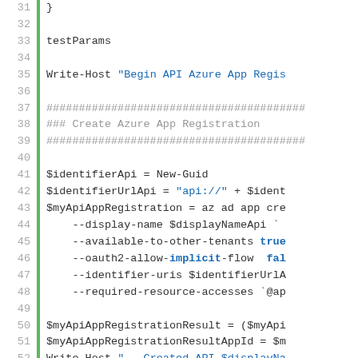[Figure (screenshot): PowerShell script code block showing lines 31-56 with line numbers, a green vertical bar, and syntax-highlighted code for Azure App Registration creation]